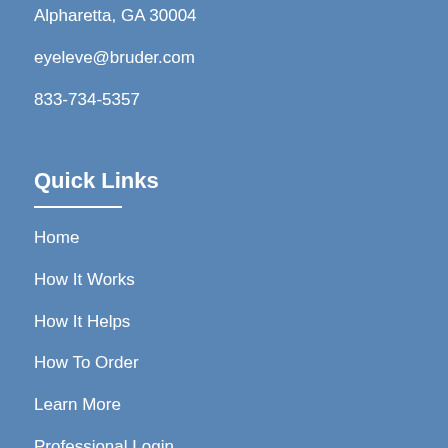Alpharetta, GA 30004
eyeleve@bruder.com
833-734-5357
Quick Links
Home
How It Works
How It Helps
How To Order
Learn More
Professional Login